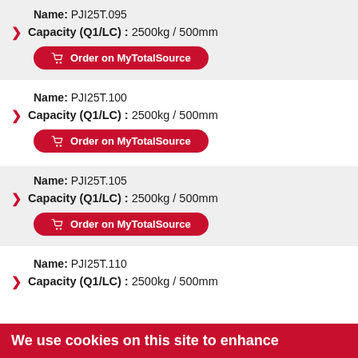Name: PJI25T.095 | Capacity (Q1/LC): 2500kg / 500mm | Order on MyTotalSource
Name: PJI25T.100 | Capacity (Q1/LC): 2500kg / 500mm | Order on MyTotalSource
Name: PJI25T.105 | Capacity (Q1/LC): 2500kg / 500mm | Order on MyTotalSource
Name: PJI25T.110 | Capacity (Q1/LC): 2500kg / 500mm
We use cookies on this site to enhance